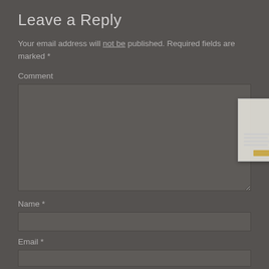Leave a Reply
Your email address will not be published. Required fields are marked *
Comment
[Figure (screenshot): Semi-transparent thumbnail overlay of a form/document page with gray lines and a gold/yellow button]
Name *
Email *